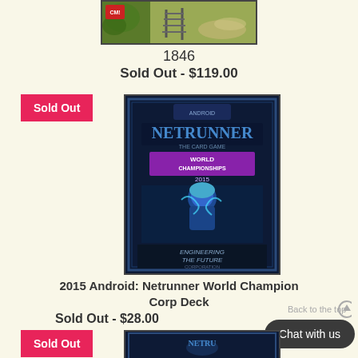[Figure (photo): Top portion of a board game box (1846) showing railroad imagery, partially cropped]
1846
Sold Out - $119.00
[Figure (photo): Android: Netrunner World Championships 2015 card game box - Engineering the Future Corp Deck, with Sold Out badge overlay]
2015 Android: Netrunner World Champion Corp Deck
Sold Out - $28.00
[Figure (photo): Partially visible Android: Netrunner product at the bottom of the page, with Sold Out badge]